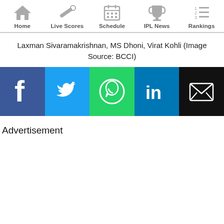Home | Live Scores | Schedule | IPL News | Rankings
Laxman Sivaramakrishnan, MS Dhoni, Virat Kohli (Image Source: BCCI)
[Figure (infographic): Social share buttons: Facebook, Twitter, WhatsApp, LinkedIn, Email]
Advertisement